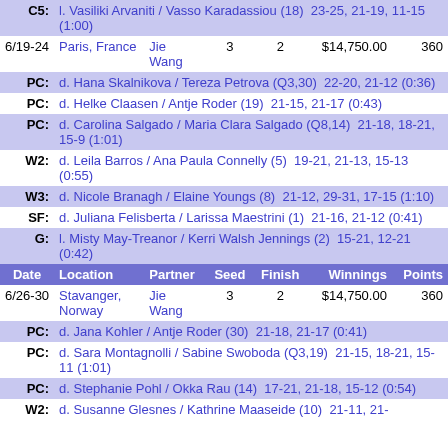| Date | Location | Partner | Seed | Finish | Winnings | Points |
| --- | --- | --- | --- | --- | --- | --- |
| C5: | l. Vasiliki Arvaniti / Vasso Karadassiou (18)  23-25, 21-19, 11-15 (1:00) |  |  |  |  |  |
| 6/19-24 | Paris, France | Jie Wang | 3 | 2 | $14,750.00 | 360 |
| PC: | d. Hana Skalnikova / Tereza Petrova (Q3,30)  22-20, 21-12 (0:36) |  |  |  |  |  |
| PC: | d. Helke Claasen / Antje Roder (19)  21-15, 21-17 (0:43) |  |  |  |  |  |
| PC: | d. Carolina Salgado / Maria Clara Salgado (Q8,14)  21-18, 18-21, 15-9 (1:01) |  |  |  |  |  |
| W2: | d. Leila Barros / Ana Paula Connelly (5)  19-21, 21-13, 15-13 (0:55) |  |  |  |  |  |
| W3: | d. Nicole Branagh / Elaine Youngs (8)  21-12, 29-31, 17-15 (1:10) |  |  |  |  |  |
| SF: | d. Juliana Felisberta / Larissa Maestrini (1)  21-16, 21-12 (0:41) |  |  |  |  |  |
| G: | l. Misty May-Treanor / Kerri Walsh Jennings (2)  15-21, 12-21 (0:42) |  |  |  |  |  |
| Date | Location | Partner | Seed | Finish | Winnings | Points |
| 6/26-30 | Stavanger, Norway | Jie Wang | 3 | 2 | $14,750.00 | 360 |
| PC: | d. Jana Kohler / Antje Roder (30)  21-18, 21-17 (0:41) |  |  |  |  |  |
| PC: | d. Sara Montagnolli / Sabine Swoboda (Q3,19)  21-15, 18-21, 15-11 (1:01) |  |  |  |  |  |
| PC: | d. Stephanie Pohl / Okka Rau (14)  17-21, 21-18, 15-12 (0:54) |  |  |  |  |  |
| W2: | d. Susanne Glesnes / Kathrine Maaseide (10)  21-11, 21-12 (0:29) |  |  |  |  |  |